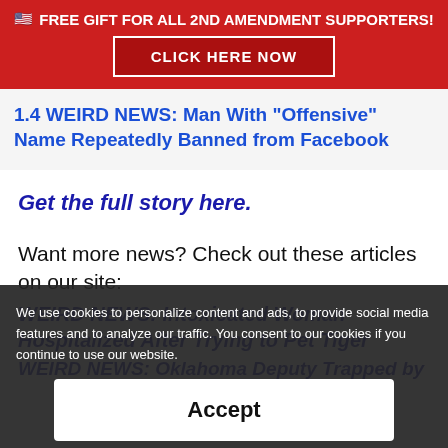🇺🇸 FREE GIFT FOR ALL 2ND AMENDMENT SUPPORTERS! CLICK HERE NOW
1.4 WEIRD NEWS: Man With "Offensive" Name Repeatedly Banned from Facebook
Get the full story here.
Want more news? Check out these articles on our site:
WEIRD NEWS: Intoxicated Woman Hospitalized After Trying to Pet Tiger
WEIRD NEWS: Oklahoma Deputy Trapped by
We use cookies to personalize content and ads, to provide social media features and to analyze our traffic. You consent to our cookies if you continue to use our website.
Accept